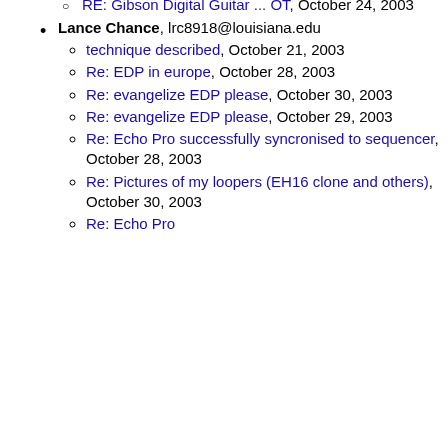RE: Gibson Digital Guitar ... OT, October 24, 2003
Lance Chance, lrc8918@louisiana.edu
technique described, October 21, 2003
Re: EDP in europe, October 28, 2003
Re: evangelize EDP please, October 30, 2003
Re: evangelize EDP please, October 29, 2003
Re: Echo Pro successfully syncronised to sequencer, October 28, 2003
Re: Pictures of my loopers (EH16 clone and others), October 30, 2003
Re: Echo Pro